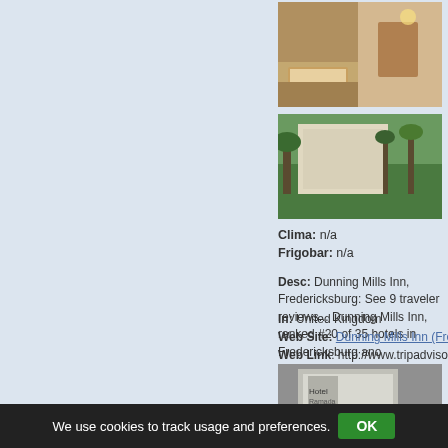[Figure (photo): Hotel room interior photo]
Info: Dunning Mills Inn (Fredericksburg, Vi... United Kingdom:
[Figure (photo): Hotel exterior with palm trees photo]
Hotel ★☆☆☆☆
Dollars - Euro: ...
Tel:Fax: ...
TV - HiFi: n/a
Clima: n/a
Frigobar: n/a
Desc: Dunning Mills Inn, Fredericksburg: See 9 traveler reviews... Dunning Mills Inn, ranked #20 of 35 hotels in Fredericksburg ano
In: United Kingdom
Web Site: Dunning Mills Inn (Fredericksburg, Virginia) - Hotel Re
Web Link: http://www.tripadvisor.com/Hotel_Review-g60824-d11
Dunning Mills Inn: Motel Reviews - Frederic
[Figure (photo): Hotel Ramada exterior sign photo]
Info: Dunning Mills Inn: Motel Reviews - Fre
We use cookies to track usage and preferences.   OK